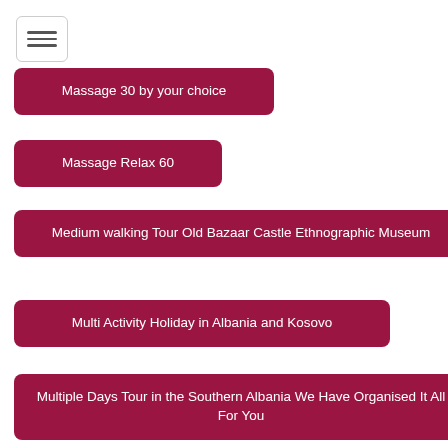Massage 30 by your choice
Massage Relax 60
Medium walking Tour Old Bazaar Castle Ethnographic Museum
Multi Activity Holiday in Albania and Kosovo
Multiple Days Tour in the Southern Albania We Have Organised It All For You